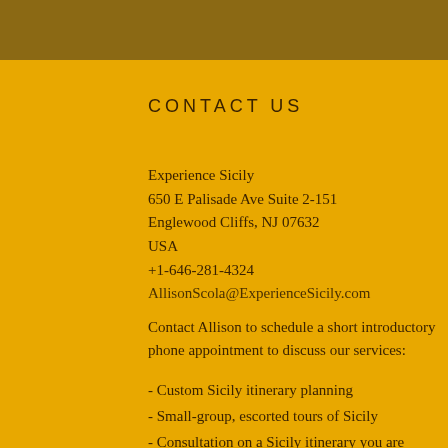CONTACT US
Experience Sicily
650 E Palisade Ave Suite 2-151
Englewood Cliffs, NJ 07632
USA
+1-646-281-4324
AllisonScola@ExperienceSicily.com
Contact Allison to schedule a short introductory phone appointment to discuss our services:
- Custom Sicily itinerary planning
- Small-group, escorted tours of Sicily
- Consultation on a Sicily itinerary you are